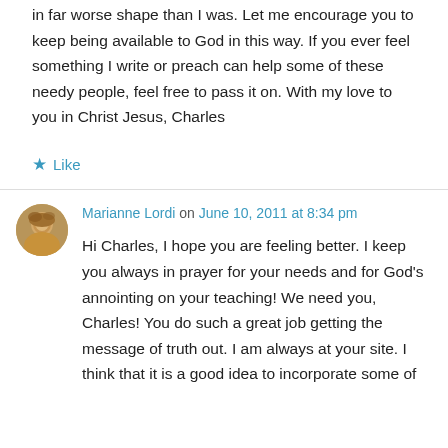in far worse shape than I was. Let me encourage you to keep being available to God in this way. If you ever feel something I write or preach can help some of these needy people, feel free to pass it on. With my love to you in Christ Jesus, Charles
★ Like
Marianne Lordi on June 10, 2011 at 8:34 pm
Hi Charles, I hope you are feeling better. I keep you always in prayer for your needs and for God's annointing on your teaching! We need you, Charles! You do such a great job getting the message of truth out. I am always at your site. I think that it is a good idea to incorporate some of